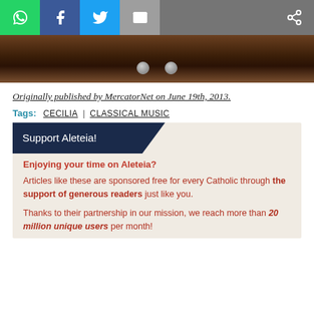[Figure (other): Social sharing toolbar with WhatsApp (green), Facebook (blue), Twitter (light blue), Email (grey) buttons and a share icon on the right]
[Figure (photo): Close-up dark brown textured surface (possibly wood or metal) with two circular bolt/fastener elements visible]
Originally published by MercatorNet on June 19th, 2013.
Tags: CECILIA | CLASSICAL MUSIC
Support Aleteia!
Enjoying your time on Aleteia?
Articles like these are sponsored free for every Catholic through the support of generous readers just like you.
Thanks to their partnership in our mission, we reach more than 20 million unique users per month!